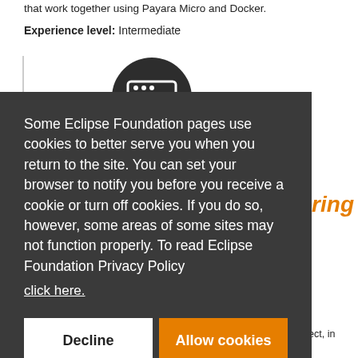that work together using Payara Micro and Docker.
Experience level: Intermediate
[Figure (illustration): Dark circular icon with a browser/code window symbol showing angle brackets and slashes]
ring
Some Eclipse Foundation pages use cookies to better serve you when you return to the site. You can set your browser to notify you before you receive a cookie or turn off cookies. If you do so, however, some areas of some sites may not function properly. To read Eclipse Foundation Privacy Policy
click here.
Decline
Allow cookies
art-up the ata Sharing. This technique could be applied in any project, in general